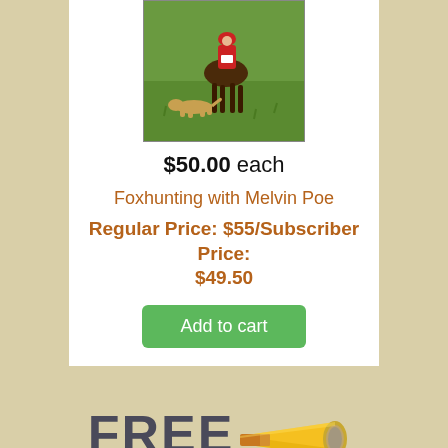[Figure (photo): Photo of a horse rider with a dog running on grass field, partially visible (cropped at top)]
$50.00 each
Foxhunting with Melvin Poe
Regular Price: $55/Subscriber Price: $49.50
Add to cart
[Figure (illustration): Illustration of a hunting horn (bugle) in yellow/gold tones with the word FREE in bold dark text beside it, and caption Hunting Horn Ringtones below]